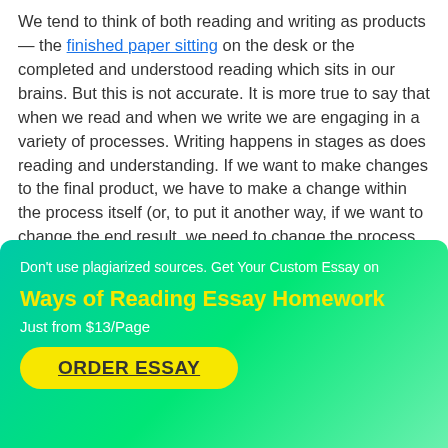We tend to think of both reading and writing as products — the finished paper sitting on the desk or the completed and understood reading which sits in our brains. But this is not accurate. It is more true to say that when we read and when we write we are engaging in a variety of processes. Writing happens in stages as does reading and understanding. If we want to make changes to the final product, we have to make a change within the process itself (or, to put it another way, if we want to change the end result, we need to change the process by which the end result is produced).
Don't use plagiarized sources. Get Your Custom Essay on
Ways of Reading Essay Homework
Just from $13/Page
ORDER ESSAY